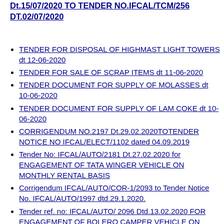Dt.15/07/2020 TO TENDER NO.IFCAL/TCM/256 DT.02/07/2020
TENDER FOR DISPOSAL OF HIGHMAST LIGHT TOWERS dt 12-06-2020
TENDER FOR SALE OF SCRAP ITEMS dt 11-06-2020
TENDER DOCUMENT FOR SUPPLY OF MOLASSES dt 10-06-2020
TENDER DOCUMENT FOR SUPPLY OF LAM COKE dt 10-06-2020
CORRIGENDUM NO.2197 Dt.29.02.2020TOTENDER NOTICE NO IFCAL/ELECT/1102 dated 04.09.2019
Tender No: IFCAL/AUTO/2181 Dt.27.02.2020 for ENGAGEMENT OF TATA WINGER VEHICLE ON MONTHLY RENTAL BASIS
Corrigendum IFCAL/AUTO/COR-1/2093 to Tender Notice No. IFCAL/AUTO/1997 dtd.29.1.2020.
Tender ref. no: IFCAL/AUTO/ 2096 Dtd.13.02.2020 FOR ENGAGEMENT OF BOLERO CAMPER VEHICLE ON